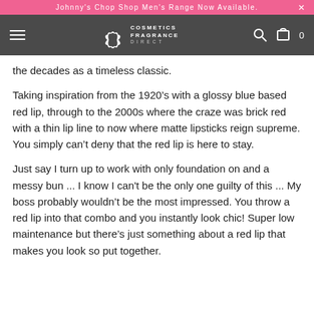Johnny's Chop Shop Men's Range Now Available.
[Figure (logo): Cosmetics Fragrance Direct logo with lotus flower icon on dark grey navigation bar]
the decades as a timeless classic.
Taking inspiration from the 1920’s with a glossy blue based red lip, through to the 2000s where the craze was brick red with a thin lip line to now where matte lipsticks reign supreme. You simply can’t deny that the red lip is here to stay.
Just say I turn up to work with only foundation on and a messy bun ... I know I can't be the only one guilty of this ... My boss probably wouldn’t be the most impressed. You throw a red lip into that combo and you instantly look chic! Super low maintenance but there’s just something about a red lip that makes you look so put together.